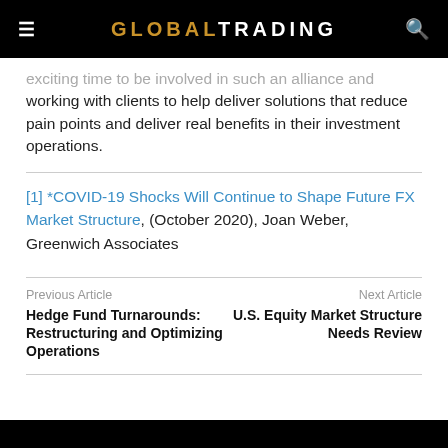GLOBALTRADING
exciting time to be involved in such an alliance and working with clients to help deliver solutions that reduce pain points and deliver real benefits in their investment operations.
[1] *COVID-19 Shocks Will Continue to Shape Future FX Market Structure, (October 2020), Joan Weber, Greenwich Associates
Previous Article
Hedge Fund Turnarounds: Restructuring and Optimizing Operations
Next Article
U.S. Equity Market Structure Needs Review